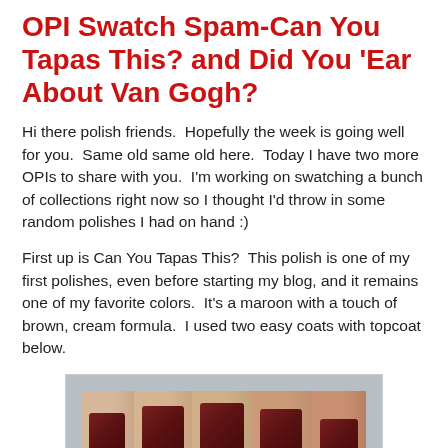OPI Swatch Spam-Can You Tapas This? and Did You 'Ear About Van Gogh?
Hi there polish friends.  Hopefully the week is going well for you.  Same old same old here.  Today I have two more OPIs to share with you.  I'm working on swatching a bunch of collections right now so I thought I'd throw in some random polishes I had on hand :)
First up is Can You Tapas This?  This polish is one of my first polishes, even before starting my blog, and it remains one of my favorite colors.  It's a maroon with a touch of brown, cream formula.  I used two easy coats with topcoat below.
[Figure (photo): Close-up photo of a hand with nails painted in a deep maroon/dark red nail polish, showing four fingers and thumb with well-painted nails.]